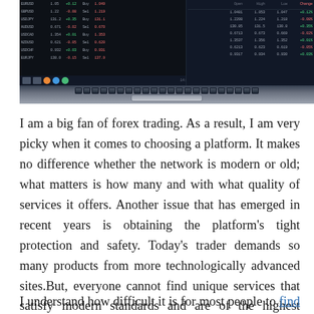[Figure (photo): A laptop computer with a forex/stock trading platform displayed on its screen, showing multiple rows of trading data with green and red numbers. The keyboard is visible in the foreground.]
I am a big fan of forex trading. As a result, I am very picky when it comes to choosing a platform. It makes no difference whether the network is modern or old; what matters is how many and with what quality of services it offers. Another issue that has emerged in recent years is obtaining the platform's tight protection and safety. Today's trader demands so many products from more technologically advanced sites.But, everyone cannot find unique services that satisfy modern standards and are of the highest quality.
I understand how difficult it is for most people to find a